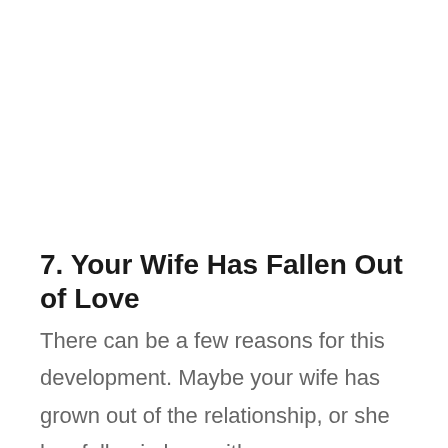7. Your Wife Has Fallen Out of Love
There can be a few reasons for this development. Maybe your wife has grown out of the relationship, or she has fallen in love with